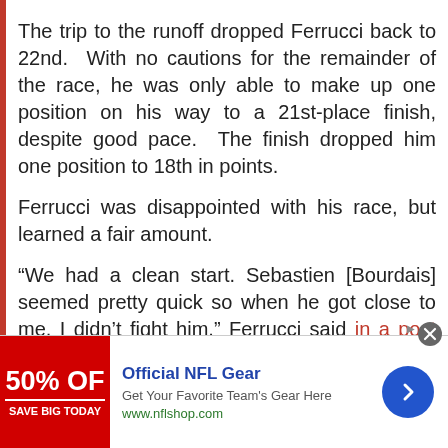The trip to the runoff dropped Ferrucci back to 22nd.  With no cautions for the remainder of the race, he was only able to make up one position on his way to a 21st-place finish, despite good pace.  The finish dropped him one position to 18th in points.
Ferrucci was disappointed with his race, but learned a fair amount.
“We had a clean start. Sebastien [Bourdais] seemed pretty quick so when he got close to me, I didn’t fight him,” Ferrucci said in a post race press release.  “I’m happy I didn’t
[Figure (other): Advertisement banner for Official NFL Gear showing 50% OFF discount with NFL shop URL and arrow button]